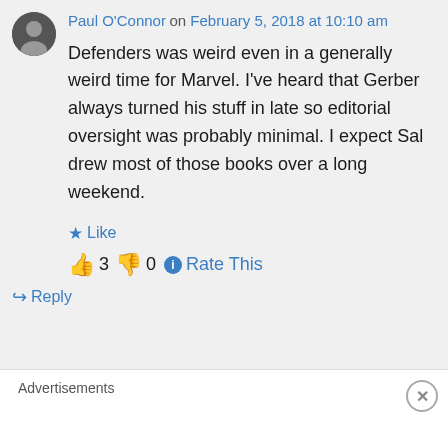Paul O'Connor on February 5, 2018 at 10:10 am
Defenders was weird even in a generally weird time for Marvel. I've heard that Gerber always turned his stuff in late so editorial oversight was probably minimal. I expect Sal drew most of those books over a long weekend.
★ Like
👍 3 👎 0 ℹ Rate This
↳ Reply
Advertisements